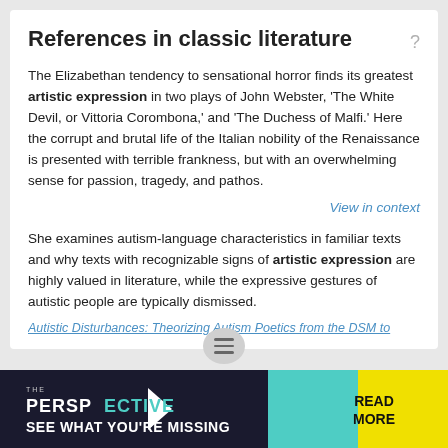References in classic literature
The Elizabethan tendency to sensational horror finds its greatest artistic expression in two plays of John Webster, 'The White Devil, or Vittoria Corombona,' and 'The Duchess of Malfi.' Here the corrupt and brutal life of the Italian nobility of the Renaissance is presented with terrible frankness, but with an overwhelming sense for passion, tragedy, and pathos.
View in context
She examines autism-language characteristics in familiar texts and why texts with recognizable signs of artistic expression are highly valued in literature, while the expressive gestures of autistic people are typically dismissed.
Autistic Disturbances: Theorizing Autism Poetics from the DSM to
Dictionary browser
artist
[Figure (screenshot): Advertisement banner: THE PERSPECTIVE - SEE WHAT YOU'RE MISSING - READ MORE]